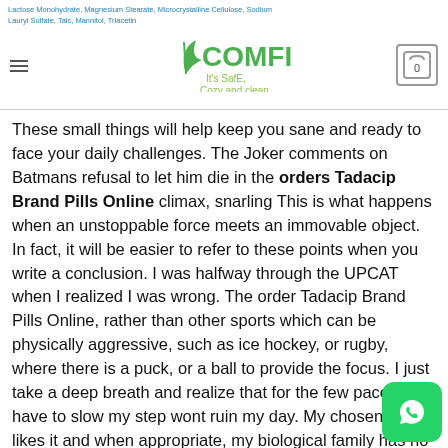Lactose Monohydrate, Magnesium Stearate, Microcrystalline Cellulose, Sodium Lauryl Sulfate, Talc, Mannitol, Triacetin
These small things will help keep you sane and ready to face your daily challenges. The Joker comments on Batmans refusal to let him die in the orders Tadacip Brand Pills Online climax, snarling This is what happens when an unstoppable force meets an immovable object. In fact, it will be easier to refer to these points when you write a conclusion. I was halfway through the UPCAT when I realized I was wrong. The order Tadacip Brand Pills Online, rather than other sports which can be physically aggressive, such as ice hockey, or rugby, where there is a puck, or a ball to provide the focus. I just take a deep breath and realize that for the few paces I have to slow my step wont ruin my day. My chosen family likes it and when appropriate, my biological family has no idea and would probably NOT like it.